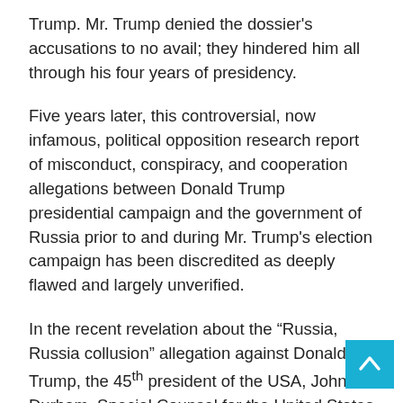Trump. Mr. Trump denied the dossier's accusations to no avail; they hindered him all through his four years of presidency.
Five years later, this controversial, now infamous, political opposition research report of misconduct, conspiracy, and cooperation allegations between Donald Trump presidential campaign and the government of Russia prior to and during Mr. Trump's election campaign has been discredited as deeply flawed and largely unverified.
In the recent revelation about the “Russia, Russia collusion” allegation against Donald Trump, the 45th president of the USA, John Durham, Special Counsel for the United States Department of Justice, has reported that these allegations were all falsified and manufactured.
Consequently, the American public has lost trust in the FBI